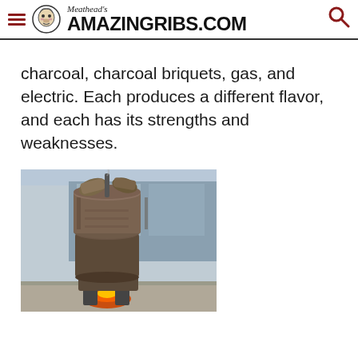Meathead's AmazingRibs.com
charcoal, charcoal briquets, gas, and electric. Each produces a different flavor, and each has its strengths and weaknesses.
[Figure (photo): A rusty metal barrel smoker/grill made from a 55-gallon drum, with chunks of wood or charcoal on top, sitting on legs with a fire visible at the bottom, outdoors with a building in the background.]